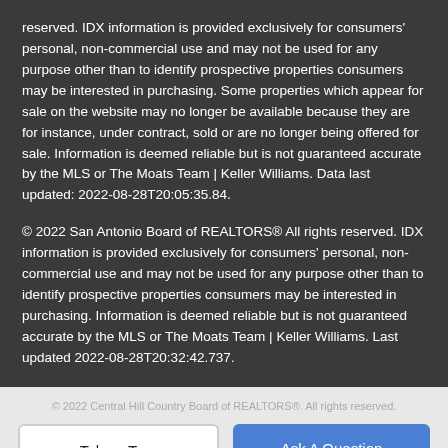reserved. IDX information is provided exclusively for consumers' personal, non-commercial use and may not be used for any purpose other than to identify prospective properties consumers may be interested in purchasing. Some properties which appear for sale on the website may no longer be available because they are for instance, under contract, sold or are no longer being offered for sale. Information is deemed reliable but is not guaranteed accurate by the MLS or The Moats Team | Keller Williams. Data last updated: 2022-08-28T20:05:35.84.
© 2022 San Antonio Board of REALTORS® All rights reserved. IDX information is provided exclusively for consumers' personal, non-commercial use and may not be used for any purpose other than to identify prospective properties consumers may be interested in purchasing. Information is deemed reliable but is not guaranteed accurate by the MLS or The Moats Team | Keller Williams. Last updated 2022-08-28T20:32:42.737.
© 2022 Central Hill Country Board of REALTORS®. All rights reserved.
Take a Tour
Ask A Question